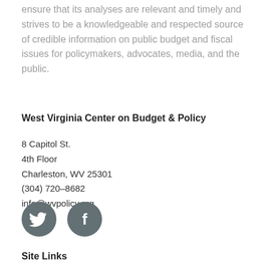ensure that its analyses are relevant and timely and strives to be a knowledgeable and respected source of credible information on public budget and fiscal issues for policymakers, advocates, media, and the public.
West Virginia Center on Budget & Policy
8 Capitol St.
4th Floor
Charleston, WV 25301
(304) 720–8682
info@wvpolicy.org
[Figure (illustration): Twitter and Facebook social media icons as dark grey circles with white bird and 'f' logos respectively]
Site Links